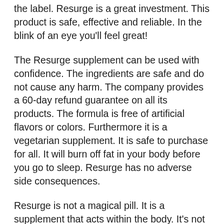the label. Resurge is a great investment. This product is safe, effective and reliable. In the blink of an eye you’ll feel great!
The Resurge supplement can be used with confidence. The ingredients are safe and do not cause any harm. The company provides a 60-day refund guarantee on all its products. The formula is free of artificial flavors or colors. Furthermore it is a vegetarian supplement. It is safe to purchase for all. It will burn off fat in your body before you go to sleep. Resurge has no adverse side consequences.
Resurge is not a magical pill. It is a supplement that acts within the body. It’s not the solution to your health problems.